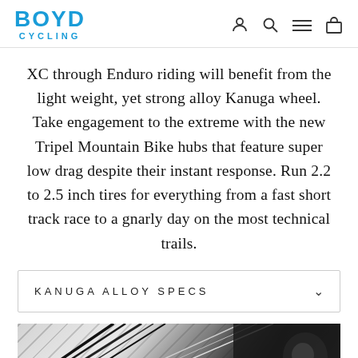BOYD CYCLING
XC through Enduro riding will benefit from the light weight, yet strong alloy Kanuga wheel. Take engagement to the extreme with the new Tripel Mountain Bike hubs that feature super low drag despite their instant response. Run 2.2 to 2.5 inch tires for everything from a fast short track race to a gnarly day on the most technical trails.
KANUGA ALLOY SPECS
[Figure (photo): Close-up photo of bicycle wheel spokes in black and white, showing crossing spoke pattern]